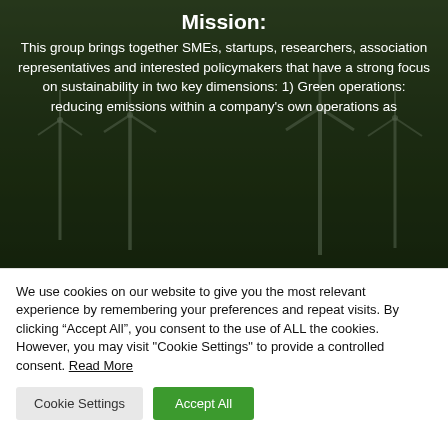[Figure (photo): Background photo of wind turbines on a green field with dark overlay, showing the word Mission: and descriptive text about the group's purpose overlaid in white text.]
Mission:
This group brings together SMEs, startups, researchers, association representatives and interested policymakers that have a strong focus on sustainability in two key dimensions: 1) Green operations: reducing emissions within a company's own operations as
We use cookies on our website to give you the most relevant experience by remembering your preferences and repeat visits. By clicking “Accept All”, you consent to the use of ALL the cookies. However, you may visit "Cookie Settings" to provide a controlled consent. Read More